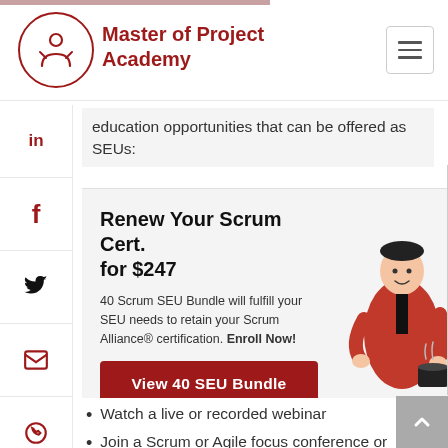Master of Project Academy
education opportunities that can be offered as SEUs:
[Figure (infographic): Advertisement card: Renew Your Scrum Cert. for $247. 40 Scrum SEU Bundle will fulfill your SEU needs to retain your Scrum Alliance® certification. Enroll Now! View 40 SEU Bundle button. Cartoon illustration of a man in red jacket with coffee.]
Watch a live or recorded webinar
Join a Scrum or Agile focus conference or